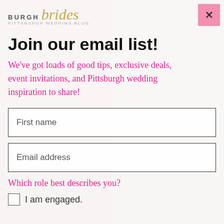[Figure (screenshot): Background collage of wedding photos (bride, floral, outdoor scenes) with a semi-transparent white overlay]
Join our email list!
We've got loads of good tips, exclusive deals, event invitations, and Pittsburgh wedding inspiration to share!
First name
Email address
Which role best describes you?
I am engaged.